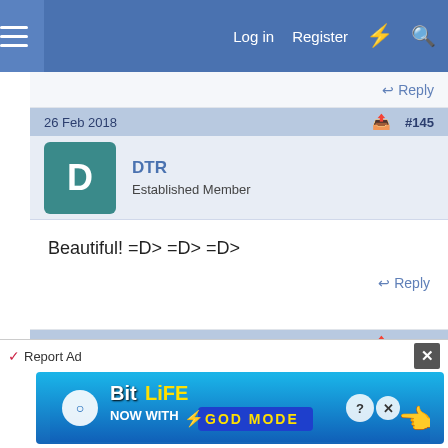Log in  Register
Reply
26 Feb 2018  #145
DTR
Established Member
Beautiful! =D> =D> =D>
Reply
26 Feb 2018  #146
mr edd
Established Member
[Figure (screenshot): BitLife NOW WITH GOD MODE advertisement banner]
Report Ad